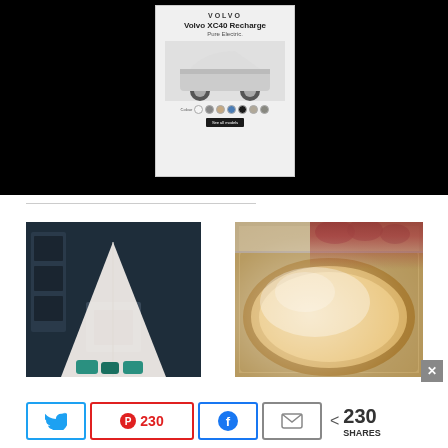[Figure (photo): Black background with a centered Volvo XC40 Recharge advertisement. Ad shows the Volvo logo, text 'Volvo XC40 Recharge Pure Electric.', color swatches, a white SUV car image, and a call-to-action button.]
[Figure (photo): Interior photo showing a white teepee/tent with teal cushions set up in a dark navy-walled living room with a fireplace.]
[Figure (photo): Close-up food photo of a baked German pancake or Dutch baby dusted with powdered sugar in a baking pan, with fruit visible in background.]
< 230 SHARES
[Figure (infographic): Social share bar with Twitter, Pinterest (230), Facebook, and email buttons.]